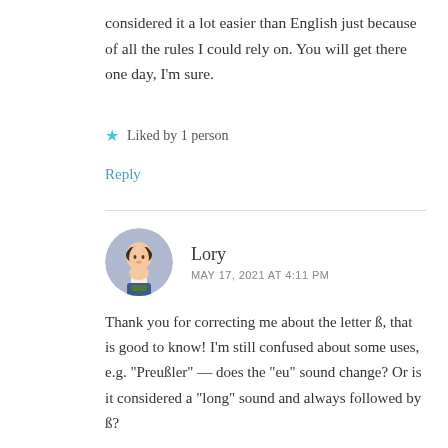considered it a lot easier than English just because of all the rules I could rely on. You will get there one day, I’m sure.
★ Liked by 1 person
Reply
Lory
MAY 17, 2021 AT 4:11 PM
Thank you for correcting me about the letter ß, that is good to know! I’m still confused about some uses, e.g. “Preußler” — does the “eu” sound change? Or is it considered a “long” sound and always followed by ß?
It’s true that German is at least consistent with its rules, and English spelling/pronunciation is anything